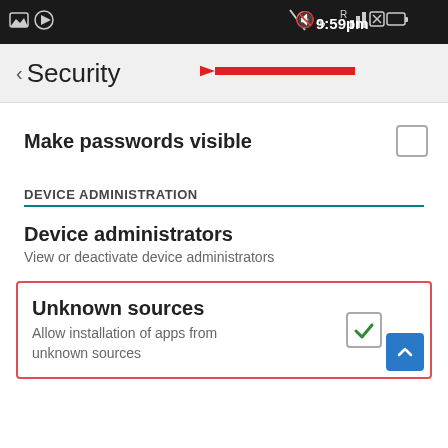[Figure (screenshot): Android phone status bar showing notification icons, signal strength, and time 9:59pm]
< Security
[Figure (other): Red arrow pointing left toward Security heading]
Make passwords visible
DEVICE ADMINISTRATION
Device administrators
View or deactivate device administrators
Unknown sources
Allow installation of apps from unknown sources